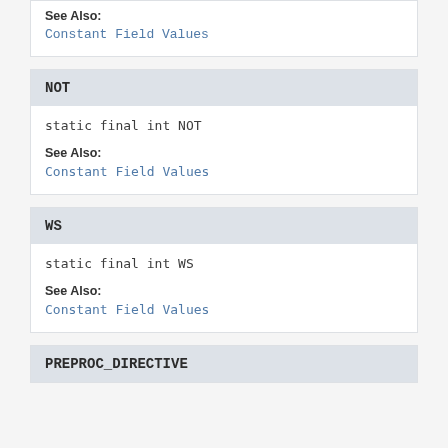See Also:
Constant Field Values
NOT
static final int NOT
See Also:
Constant Field Values
WS
static final int WS
See Also:
Constant Field Values
PREPROC_DIRECTIVE